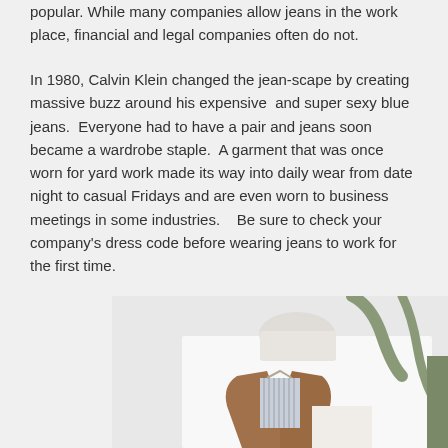popular. While many companies allow jeans in the work place, financial and legal companies often do not.
In 1980, Calvin Klein changed the jean-scape by creating massive buzz around his expensive  and super sexy blue jeans.  Everyone had to have a pair and jeans soon became a wardrobe staple.  A garment that was once worn for yard work made its way into daily wear from date night to casual Fridays and are even worn to business meetings in some industries.   Be sure to check your company's dress code before wearing jeans to work for the first time.
[Figure (photo): Photo showing a brown/camel colored blazer jacket with a striped shirt underneath, on a white background with some light green plant elements visible. Appears to be a fashion/clothing styled product shot.]